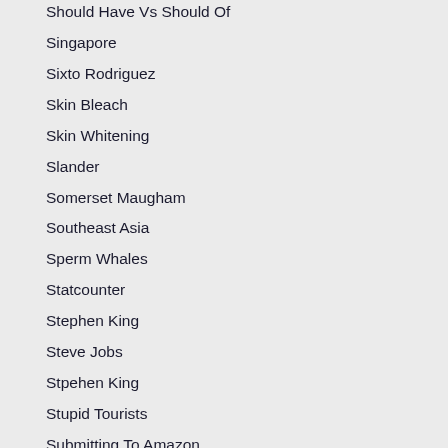Should Have Vs Should Of
Singapore
Sixto Rodriguez
Skin Bleach
Skin Whitening
Slander
Somerset Maugham
Southeast Asia
Sperm Whales
Statcounter
Stephen King
Steve Jobs
Stpehen King
Stupid Tourists
Submitting To Amazon
Submitting To Apple Vs Amazon
Sucessful Writing
Sugarman
Swimming